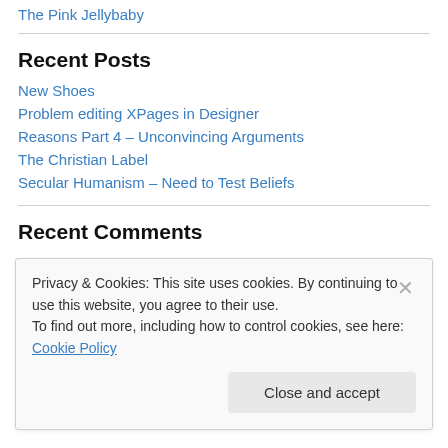The Pink Jellybaby
Recent Posts
New Shoes
Problem editing XPages in Designer
Reasons Part 4 – Unconvincing Arguments
The Christian Label
Secular Humanism – Need to Test Beliefs
Recent Comments
Privacy & Cookies: This site uses cookies. By continuing to use this website, you agree to their use.
To find out more, including how to control cookies, see here: Cookie Policy
Close and accept